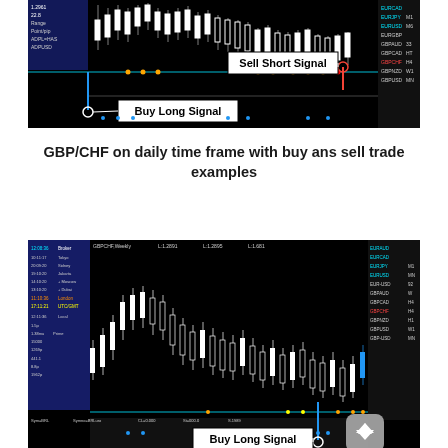[Figure (screenshot): Trading chart showing GBP/CHF on daily time frame with candlestick patterns. A white circle marks a 'Buy Long Signal' at the bottom left area with a label box, and a red circle marks a 'Sell Short Signal' at the top right with a label box. Orange and red dots appear along a teal horizontal indicator line. The right panel shows currency pairs list (EURCAD, EURJPY, EURUSD, etc.).]
GBP/CHF on daily time frame with buy ans sell trade examples
[Figure (screenshot): Second trading chart showing GBP/CHF on a lower timeframe with candlestick patterns on a black background. A 'Buy Long Signal' label box with a white circle appears at the bottom right. The chart has a world clock panel on the left, and a currency pairs panel on the right. A round gray button with an upward arrow icon appears at the bottom right corner.]